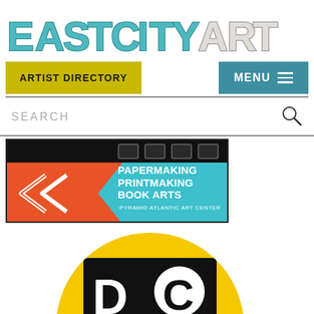EASTCITYART
ARTIST DIRECTORY
MENU
SEARCH
[Figure (illustration): Pyramid Atlantic Art Center advertisement banner with teal background, orange arrow/chevron graphic, and text: PAPERMAKING PRINTMAKING BOOK ARTS - PYRAMID ATLANTIC ART CENTER]
[Figure (logo): DC logo on yellow semicircle background - black rectangle with white D and white circle containing black C]